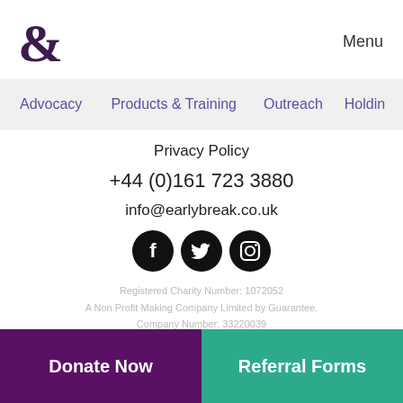[Figure (logo): EarlyBreak ampersand logo symbol in dark purple]
Menu
Advocacy  Products & Training  Outreach  Holdin
Privacy Policy
+44 (0)161 723 3880
info@earlybreak.co.uk
[Figure (infographic): Three social media icons: Facebook, Twitter, Instagram on black circular backgrounds]
Registered Charity Number: 1072052
A Non Profit Making Company Limited by Guarantee.
Company Number: 33220039
Donate Now
Referral Forms